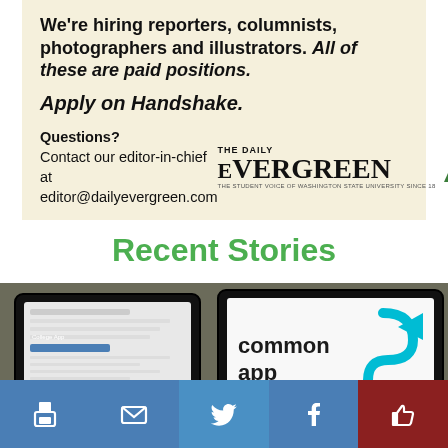[Figure (infographic): Ad banner on cream/beige background for The Daily Evergreen student newspaper, with text about hiring reporters, columnists, photographers and illustrators, apply on Handshake, questions contact editor-in-chief at editor@dailyevergreen.com, with The Daily Evergreen logo and green tree icon]
Recent Stories
[Figure (photo): Photo/composite image showing laptop/tablet screens displaying what appears to be a college application form alongside a Common App logo (cyan/blue chevron S-shape on white screen), overlaid with social sharing buttons at the bottom (print, email, Twitter, Facebook, like/thumbs-up)]